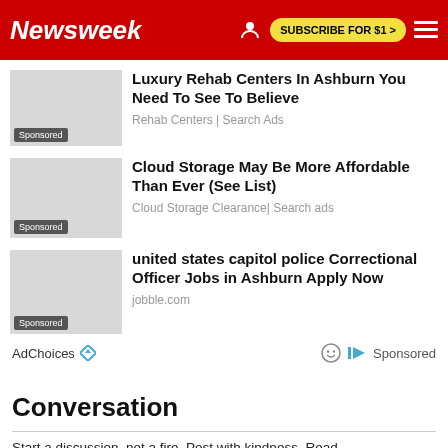Newsweek | SUBSCRIBE FOR $1 >
Luxury Rehab Centers In Ashburn You Need To See To Believe
Rehab Centers | Search Ads
Sponsored
Cloud Storage May Be More Affordable Than Ever (See List)
Cloud Storage Clearance| Search ads
Sponsored
united states capitol police Correctional Officer Jobs in Ashburn Apply Now
jobble.com
Sponsored
AdChoices | Sponsored
Conversation
Start a discussion, not a fire. Post with kindness. Read...